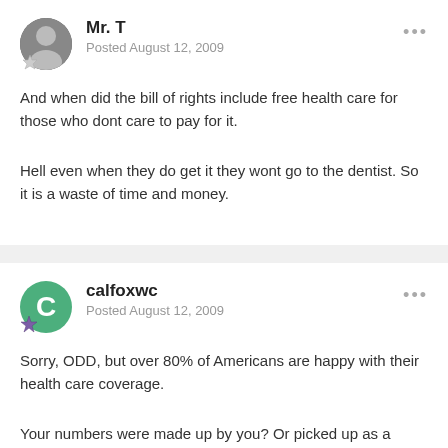Mr. T
Posted August 12, 2009
And when did the bill of rights include free health care for those who dont care to pay for it.
Hell even when they do get it they wont go to the dentist. So it is a waste of time and money.
calfoxwc
Posted August 12, 2009
Sorry, ODD, but over 80% of Americans are happy with their health care coverage.
Your numbers were made up by you? Or picked up as a talking point from...?